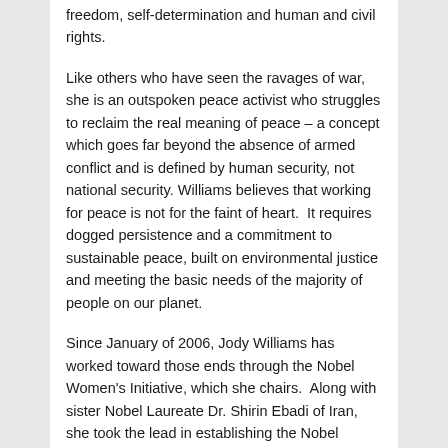freedom, self-determination and human and civil rights.
Like others who have seen the ravages of war, she is an outspoken peace activist who struggles to reclaim the real meaning of peace – a concept which goes far beyond the absence of armed conflict and is defined by human security, not national security. Williams believes that working for peace is not for the faint of heart.  It requires dogged persistence and a commitment to sustainable peace, built on environmental justice and meeting the basic needs of the majority of people on our planet.
Since January of 2006, Jody Williams has worked toward those ends through the Nobel Women's Initiative, which she chairs.  Along with sister Nobel Laureate Dr. Shirin Ebadi of Iran, she took the lead in establishing the Nobel Women's Initiative.  They were joined at that time by sister Nobel Laureates Wangari Maathai (Kenya), Rigoberta Menchú Tum (Guatemala) and Betty Williams and Mairead Maguire (Northern Ireland). The Initiative uses the prestige of the Nobel Peace Prize and the influence